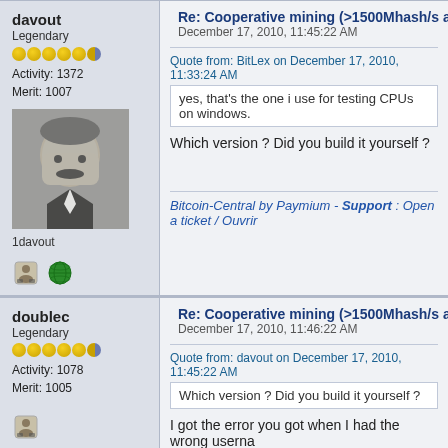davout - Re: Cooperative mining (>1500Mhash/s alr - December 17, 2010, 11:45:22 AM
Quote from: BitLex on December 17, 2010, 11:33:24 AM
yes, that's the one i use for testing CPUs on windows.
Which version ? Did you build it yourself ?
Bitcoin-Central by Paymium - Support : Open a ticket / Ouvrir
doublec - Re: Cooperative mining (>1500Mhash/s alr - December 17, 2010, 11:46:22 AM
Quote from: davout on December 17, 2010, 11:45:22 AM
Which version ? Did you build it yourself ?
I got the error you got when I had the wrong userna
slush - Re: Cooperative mining (>1500Mhash/s alr - December 17, 2010, 12:08:50 PM